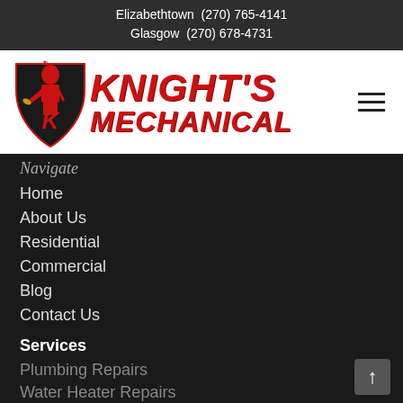Elizabethtown  (270) 765-4141
Glasgow  (270) 678-4731
[Figure (logo): Knight's Mechanical logo with red knight in armor holding a wrench on a shield with letter K, beside bold red italic text reading KNIGHT'S MECHANICAL]
Navigate
Home
About Us
Residential
Commercial
Blog
Contact Us
Services
Plumbing Repairs
Water Heater Repairs